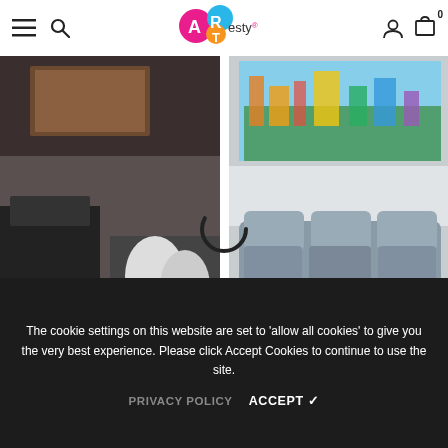ARTesty navigation header with hamburger menu, search, logo, user and cart icons
[Figure (photo): Interior room scene with dark modern furniture and wall art, product listing image for Beautiful Golden Lipstick Dripping]
Beautiful Golden Lipstick Dripping ...
$116.99  from  $71.99
[Figure (photo): Living room with grey sofa and colorful city skyline canvas wall art, product listing for Downtown Austin City Skyline L]
Downtown Austin City Skyline L
$116.99  from  $71.99
SHOW MORE
The cookie settings on this website are set to 'allow all cookies' to give you the very best experience. Please click Accept Cookies to continue to use the site.
PRIVACY POLICY   ACCEPT ✓